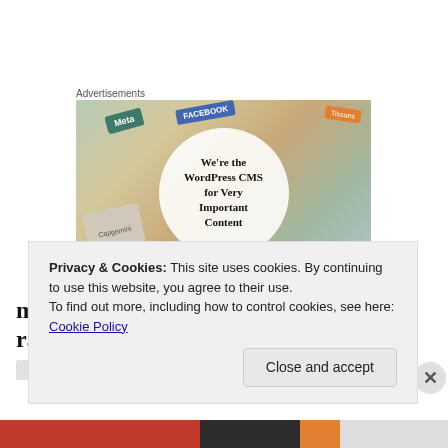Advertisements
[Figure (illustration): Advertisement banner showing various branded cards (Meta, Facebook, Capgemini, others) scattered around a circular white overlay with bold text reading: We're the WordPress CMS for Very Important Content]
my father is obsessed with his heart rate…
Privacy & Cookies: This site uses cookies. By continuing to use this website, you agree to their use.
To find out more, including how to control cookies, see here: Cookie Policy
Close and accept